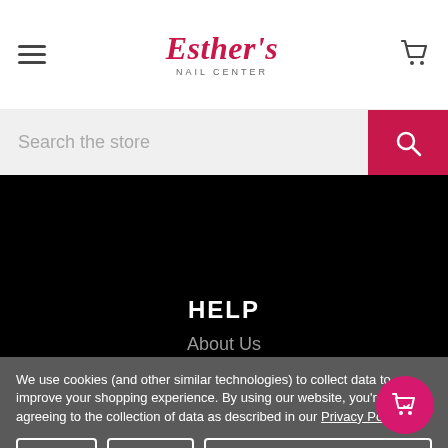Esther's Nail Center — header with hamburger menu, logo, and cart icon
Search the store
[Figure (screenshot): Black background section showing HELP heading and About Us link]
HELP
About Us
We use cookies (and other similar technologies) to collect data to improve your shopping experience. By using our website, you're agreeing to the collection of data as described in our Privacy Policy.
Settings | Reject all | Accept All Cookies